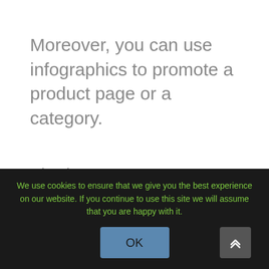Moreover, you can use infographics to promote a product page or a category.
The best way to promote your content is to use infographics on your website and share them on social media.
If you’re a luxury cosmetics brand, you
We use cookies to ensure that we give you the best experience on our website. If you continue to use this site we will assume that you are happy with it.